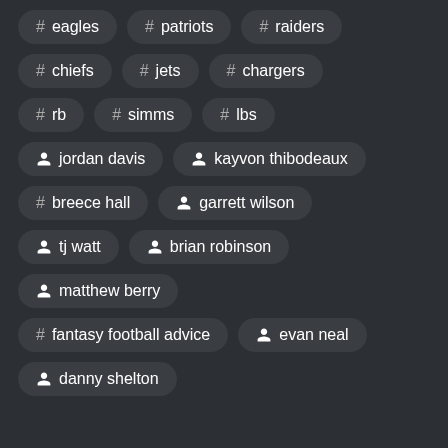# eagles
# patriots
# raiders
# chiefs
# jets
# chargers
# rb
# simms
# lbs
person jordan davis
person kayvon thibodeaux
# breece hall
person garrett wilson
person tj watt
person brian robinson
person matthew berry
# fantasy football advice
person evan neal
person danny shelton